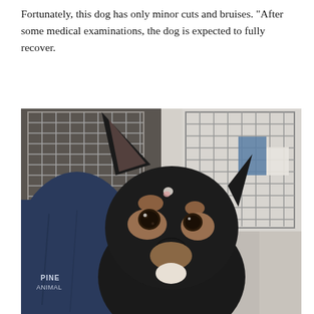Fortunately, this dog has only minor cuts and bruises. "After some medical examinations, the dog is expected to fully recover.
[Figure (photo): A small black and tan dog (Chihuahua mix) resting against a person wearing a navy blue hoodie with 'PINE ANIMAL' text visible. The dog has large ears, brown eyebrow markings, and a small white spot on its forehead. In the background are metal wire kennels/cages in what appears to be a veterinary or animal shelter facility.]